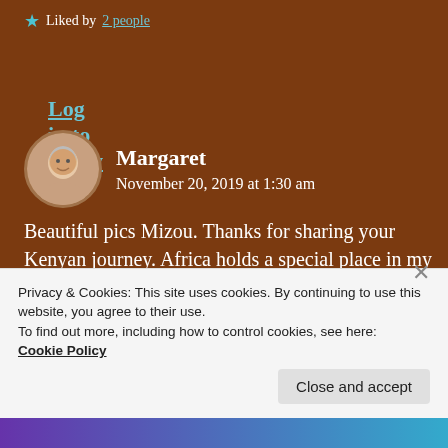★ Liked by 2 people
Log in to Reply
Margaret
November 20, 2019 at 1:30 am
Beautiful pics Mizou. Thanks for sharing your Kenyan journey. Africa holds a special place in my heart, only visited The Gambia and near Senagalese border. Have two Kenyan friends here in u.k 🙂
Privacy & Cookies: This site uses cookies. By continuing to use this website, you agree to their use.
To find out more, including how to control cookies, see here: Cookie Policy
Close and accept